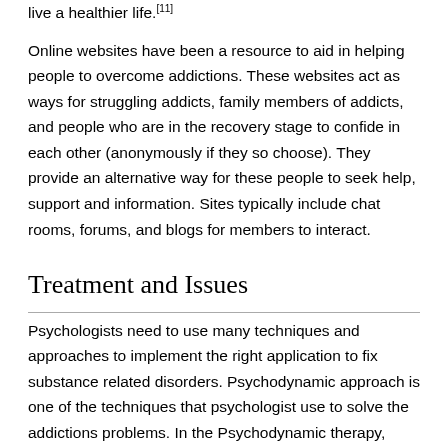live a healthier life.[11]
Online websites have been a resource to aid in helping people to overcome addictions. These websites act as ways for struggling addicts, family members of addicts, and people who are in the recovery stage to confide in each other (anonymously if they so choose). They provide an alternative way for these people to seek help, support and information. Sites typically include chat rooms, forums, and blogs for members to interact.
Treatment and Issues
Psychologists need to use many techniques and approaches to implement the right application to fix substance related disorders. Psychodynamic approach is one of the techniques that psychologist use to solve the addictions problems. In the Psychodynamic therapy, psychologists need to understand the conflicts and the needs of the addict persons, and also need to locate the defects of their ego and defense mechanisms. Using this approach alone by itself is proved to be ineffective in solving addiction problems. Psychology is not only defined by conscious as believed in structuralism ideology, is also defined by cognition and